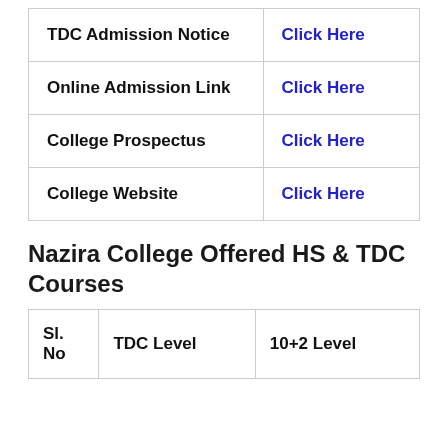|  |  |
| --- | --- |
| TDC Admission Notice | Click Here |
| Online Admission Link | Click Here |
| College Prospectus | Click Here |
| College Website | Click Here |
Nazira College Offered HS & TDC Courses
| Sl. No | TDC Level | 10+2 Level |
| --- | --- | --- |